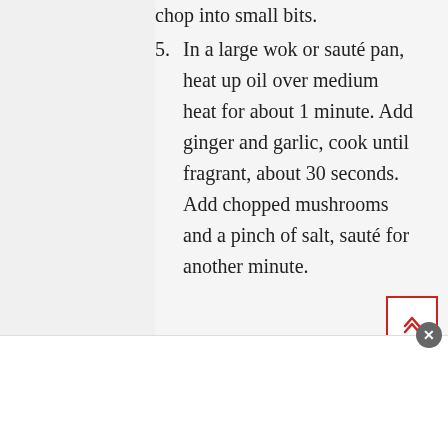chop into small bits.
5. In a large wok or sauté pan, heat up oil over medium heat for about 1 minute. Add ginger and garlic, cook until fragrant, about 30 seconds. Add chopped mushrooms and a pinch of salt, sauté for another minute.
6. Pour the reserved mushroom water into the